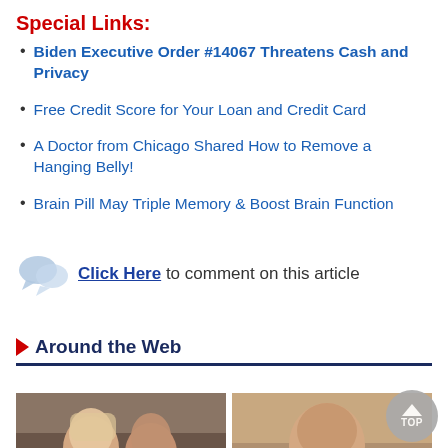Special Links:
Biden Executive Order #14067 Threatens Cash and Privacy
Free Credit Score for Your Loan and Credit Card
A Doctor from Chicago Shared How to Remove a Hanging Belly!
Brain Pill May Triple Memory & Boost Brain Function
Click Here to comment on this article
Around the Web
[Figure (photo): Two people (couple) smiling at camera]
[Figure (photo): Elderly man with glasses looking at camera]